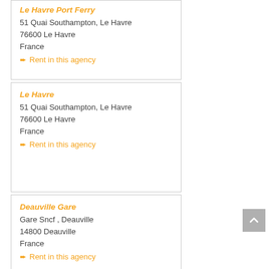Le Havre Port Ferry
51 Quai Southampton, Le Havre
76600 Le Havre
France
➨ Rent in this agency
Le Havre
51 Quai Southampton, Le Havre
76600 Le Havre
France
➨ Rent in this agency
Deauville Gare
Gare Sncf , Deauville
14800 Deauville
France
➨ Rent in this agency